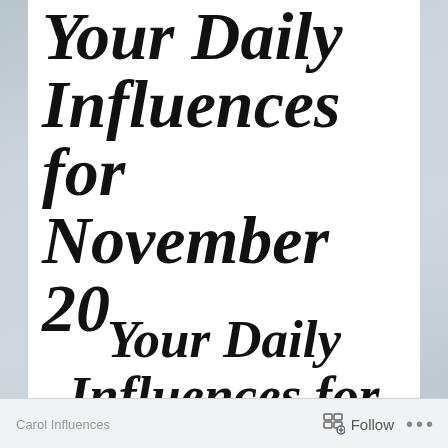[Figure (screenshot): Screenshot of a social media / blog post showing 'Your Daily Influences for November 20' rendered twice in large bold italic script font on a white card over a blurred grey background. Bottom bar shows 'Carol Influences' page name with a Follow button and ellipsis menu.]
Your Daily Influences for November 20
Your Daily Influences for November 20
Carol Influences   Follow   ...